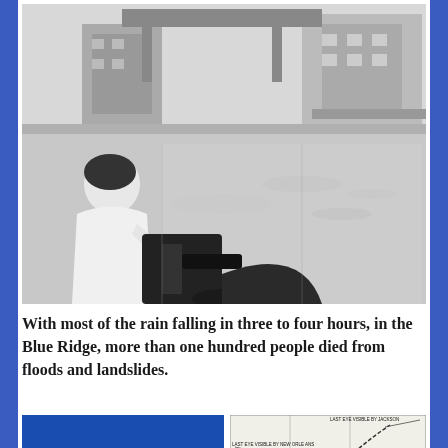[Figure (photo): Black and white photograph of a flooded city street. A person is seen from behind operating what appears to be a boat motor in the foreground, with floodwater covering the street and buildings visible in the background.]
With most of the rain falling in three to four hours, in the Blue Ridge, more than one hundred people died from floods and landslides.
[Figure (photo): Blue book cover with bold white text reading 'HURRICANE CAMILLE' and subtitle 'One of only four Category 5 hurricanes']
[Figure (map): A map showing the track of Hurricane Camille with labeled eye visibility points including 'Last Eye Visible by Jackson', 'Last Eye Visible by New Orleans', 'Last Eye Visible by Pensacola', and 'First Eye Visible by Jackson'. A small satellite image inset is visible.]